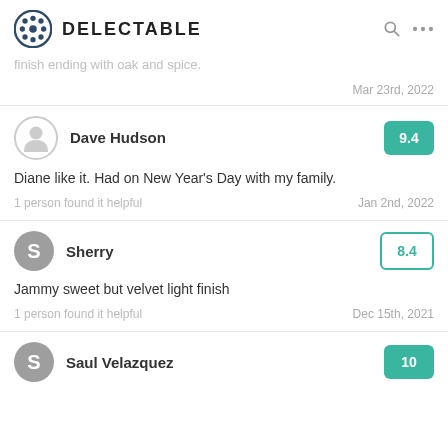DELECTABLE
case. On the palate flavors of blackberry and black cherry ... pepper. Firm tannins, medium finish ending with oak and spice.
Mar 23rd, 2022
Dave Hudson — 9.4
Diane like it. Had on New Year's Day with my family.
1 person found it helpful — Jan 2nd, 2022
Sherry — 8.4
Jammy sweet but velvet light finish
1 person found it helpful — Dec 15th, 2021
Saul Velazquez — 10